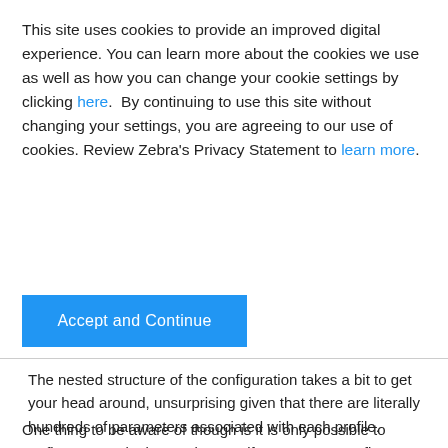This site uses cookies to provide an improved digital experience. You can learn more about the cookies we use as well as how you can change your cookie settings by clicking here.  By continuing to use this site without changing your settings, you are agreeing to our use of cookies. Review Zebra's Privacy Statement to learn more.
Accept and Continue
The nested structure of the configuration takes a bit to get your head around, unsurprising given that there are literally hundreds of parameters associated with each profile.
One thing to be aware of though is it is only possible to configure one plugin at a time, so if you want to configure two plugins it will